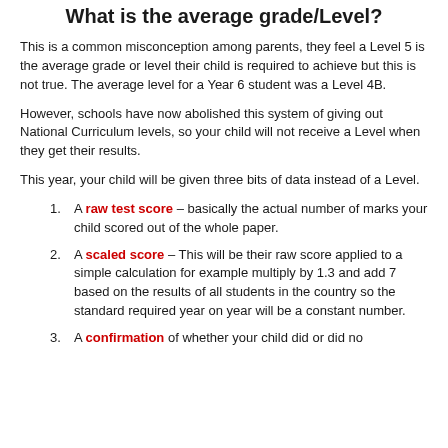What is the average grade/Level?
This is a common misconception among parents, they feel a Level 5 is the average grade or level their child is required to achieve but this is not true. The average level for a Year 6 student was a Level 4B.
However, schools have now abolished this system of giving out National Curriculum levels, so your child will not receive a Level when they get their results.
This year, your child will be given three bits of data instead of a Level.
A raw test score – basically the actual number of marks your child scored out of the whole paper.
A scaled score – This will be their raw score applied to a simple calculation for example multiply by 1.3 and add 7 based on the results of all students in the country so the standard required year on year will be a constant number.
A confirmation of whether your child did or did not...